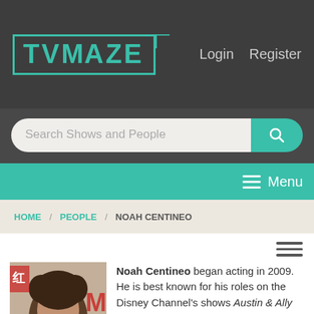[Figure (logo): TVMaze logo with teal border and text on dark background]
Login   Register
Search Shows and People
Menu
HOME / PEOPLE / NOAH CENTINEO
[Figure (photo): Photo of Noah Centineo, young man with curly brown hair]
Noah Centineo began acting in 2009. He is best known for his roles on the Disney Channel's shows Austin & Ally and Shake It Up. He